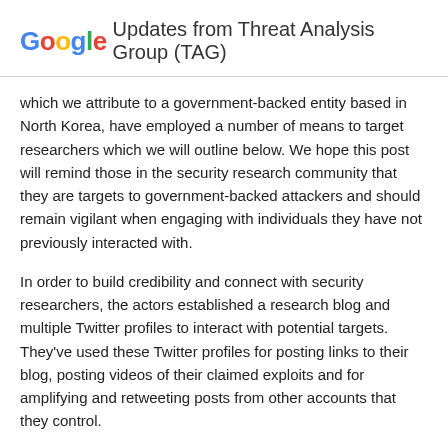Google Updates from Threat Analysis Group (TAG)
which we attribute to a government-backed entity based in North Korea, have employed a number of means to target researchers which we will outline below. We hope this post will remind those in the security research community that they are targets to government-backed attackers and should remain vigilant when engaging with individuals they have not previously interacted with.
In order to build credibility and connect with security researchers, the actors established a research blog and multiple Twitter profiles to interact with potential targets. They've used these Twitter profiles for posting links to their blog, posting videos of their claimed exploits and for amplifying and retweeting posts from other accounts that they control.